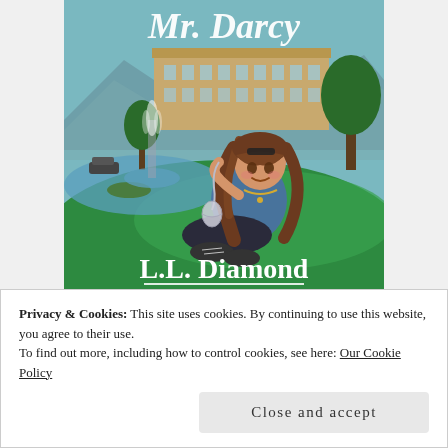[Figure (illustration): Book cover illustration for a novel titled 'Mr. Darcy' by L.L. Diamond. Shows a young woman with long brown wavy hair, wearing a denim jacket, ripped black jeans, and sneakers, sitting on green grass holding a face mask dangling from one finger. Behind her is a large mansion/manor house, a fountain, a lake with an island, mountains, and trees. The title 'Mr. Darcy' appears in white cursive script at the top, and the author name 'L.L. Diamond' appears in large white serif text at the bottom with an underline.]
Privacy & Cookies: This site uses cookies. By continuing to use this website, you agree to their use.
To find out more, including how to control cookies, see here: Our Cookie Policy
Close and accept